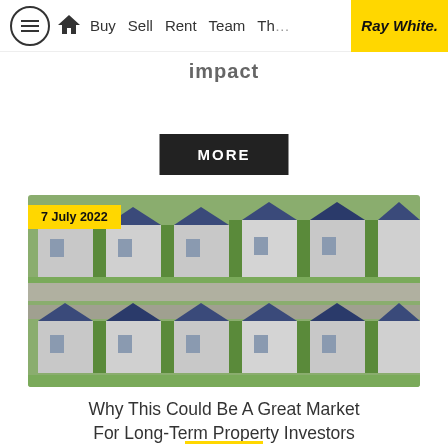≡  🏠  Buy  Sell  Rent  Team  The  Ray White.
impact
MORE
[Figure (photo): Aerial view of suburban housing development with blue/dark roofs and green lawns, photographed from above, with a yellow date badge showing '7 July 2022']
Why This Could Be A Great Market For Long-Term Property Investors